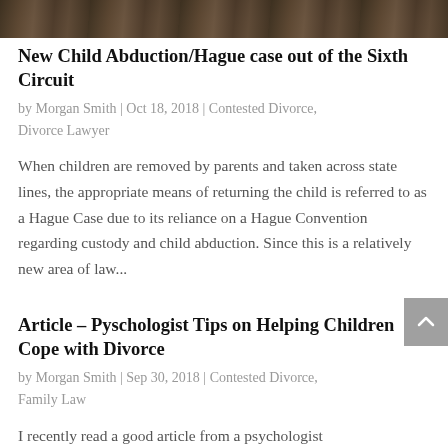[Figure (photo): Dark nature/outdoor photograph strip at top of page]
New Child Abduction/Hague case out of the Sixth Circuit
by Morgan Smith | Oct 18, 2018 | Contested Divorce, Divorce Lawyer
When children are removed by parents and taken across state lines, the appropriate means of returning the child is referred to as a Hague Case due to its reliance on a Hague Convention regarding custody and child abduction. Since this is a relatively new area of law...
Article – Pyschologist Tips on Helping Children Cope with Divorce
by Morgan Smith | Sep 30, 2018 | Contested Divorce, Family Law
I recently read a good article from a psychologist